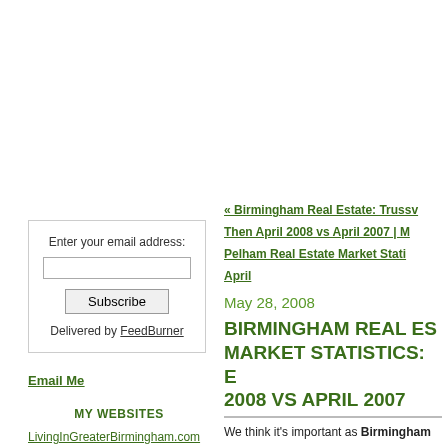Enter your email address:
Subscribe
Delivered by FeedBurner
Email Me
MY WEBSITES
LivingInGreaterBirmingham.com
« Birmingham Real Estate: Trussv... Then April 2008 vs April 2007 | M... Pelham Real Estate Market Stati... April
May 28, 2008
BIRMINGHAM REAL ES... MARKET STATISTICS: E... 2008 VS APRIL 2007
We think it's important as Birmingham...